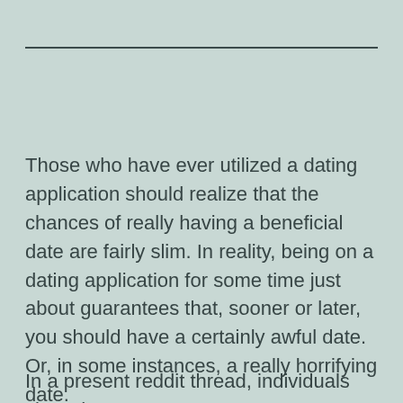Those who have ever utilized a dating application should realize that the chances of really having a beneficial date are fairly slim. In reality, being on a dating application for some time just about guarantees that, sooner or later, you should have a certainly awful date. Or, in some instances, a really horrifying date.
In a present reddit thread, individuals shared